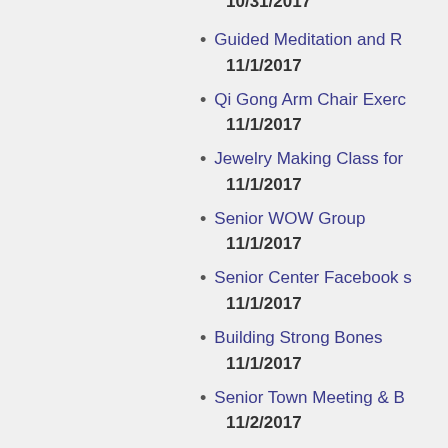10/31/2017
Guided Meditation and R
11/1/2017
Qi Gong Arm Chair Exerc
11/1/2017
Jewelry Making Class for
11/1/2017
Senior WOW Group
11/1/2017
Senior Center Facebook S
11/1/2017
Building Strong Bones
11/1/2017
Senior Town Meeting & B
11/2/2017